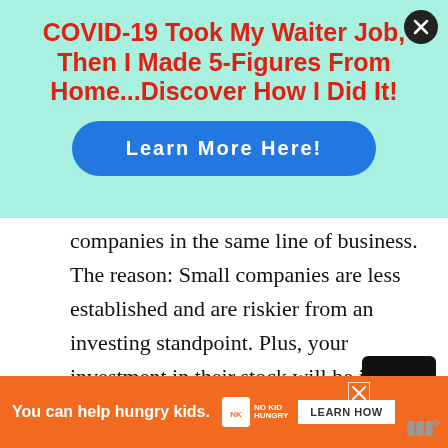[Figure (infographic): Advertisement banner with mint green background. Bold red headline: 'COVID-19 Took My Waiter Job, Then I Made 5-Figures From Home...Discover How I Did It!' with a blue rounded 'Learn More Here!' button. Close (X) button in top-right corner.]
companies in the same line of business. The reason: Small companies are less established and are riskier from an investing standpoint. Plus, your investment in their stock will be illiquid (that is, even in good times, the stock generally can't be converted into cash within a reasonable period of time).
[Figure (infographic): Orange advertisement banner at the bottom: 'You can help hungry kids.' with No Kid Hungry logo and 'LEARN HOW' button. Close X button and watermark logo on right side.]